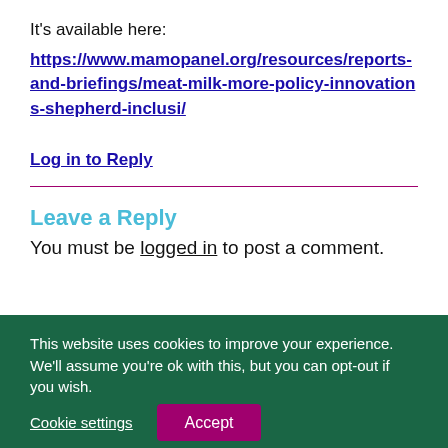It's available here:
https://www.mamopanel.org/resources/reports-and-briefings/meat-milk-more-policy-innovations-shepherd-inclusi/
Log in to Reply
Leave a Reply
You must be logged in to post a comment.
This website uses cookies to improve your experience. We'll assume you're ok with this, but you can opt-out if you wish.
Cookie settings
Accept